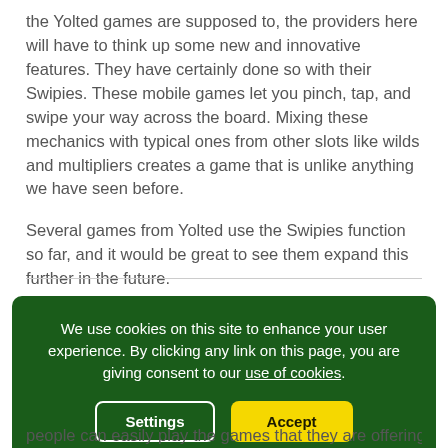the Yolted games are supposed to, the providers here will have to think up some new and innovative features. They have certainly done so with their Swipies. These mobile games let you pinch, tap, and swipe your way across the board. Mixing these mechanics with typical ones from other slots like wilds and multipliers creates a game that is unlike anything we have seen before.
Several games from Yolted use the Swipies function so far, and it would be great to see them expand this further in the future.
We use cookies on this site to enhance your user experience. By clicking any link on this page, you are giving consent to our use of cookies.
people can easily play the games that they are offering, and